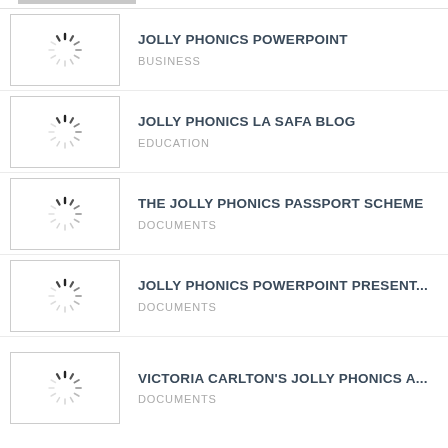JOLLY PHONICS POWERPOINT | BUSINESS
JOLLY PHONICS LA SAFA BLOG | EDUCATION
THE JOLLY PHONICS PASSPORT SCHEME | DOCUMENTS
JOLLY PHONICS POWERPOINT PRESENT... | DOCUMENTS
VICTORIA CARLTON'S JOLLY PHONICS A... | DOCUMENTS